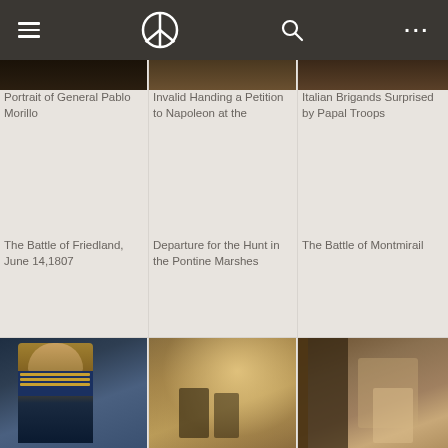[Figure (screenshot): App navigation bar with hamburger menu, peace symbol logo, search icon, and more options (ellipsis)]
[Figure (photo): Partial thumbnail of painting: Portrait of General Pablo Morillo]
Portrait of General Pablo Morillo
[Figure (photo): Partial thumbnail of painting: Invalid Handing a Petition to Napoleon at the]
Invalid Handing a Petition to Napoleon at the
[Figure (photo): Partial thumbnail of painting: Italian Brigands Surprised by Papal Troops]
Italian Brigands Surprised by Papal Troops
The Battle of Friedland, June 14,1807
Departure for the Hunt in the Pontine Marshes
The Battle of Montmirail
[Figure (photo): Painting thumbnail: portrait of a military officer in blue and gold hussar uniform]
[Figure (photo): Painting thumbnail: battle scene with figures in smoky, misty environment]
[Figure (photo): Painting thumbnail: figures on horseback near a wooden structure]